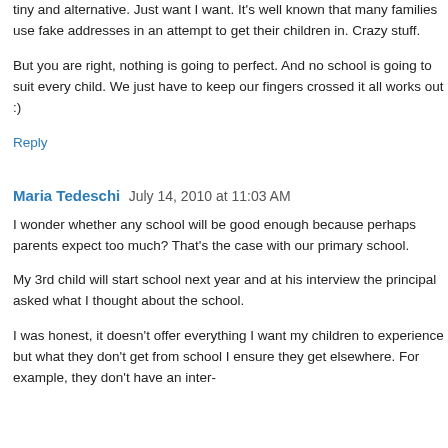tiny and alternative. Just want I want. It's well known that many families use fake addresses in an attempt to get their children in. Crazy stuff.
But you are right, nothing is going to perfect. And no school is going to suit every child. We just have to keep our fingers crossed it all works out :)
Reply
Maria Tedeschi  July 14, 2010 at 11:03 AM
I wonder whether any school will be good enough because perhaps parents expect too much? That's the case with our primary school.
My 3rd child will start school next year and at his interview the principal asked what I thought about the school.
I was honest, it doesn't offer everything I want my children to experience but what they don't get from school I ensure they get elsewhere. For example, they don't have an inter-